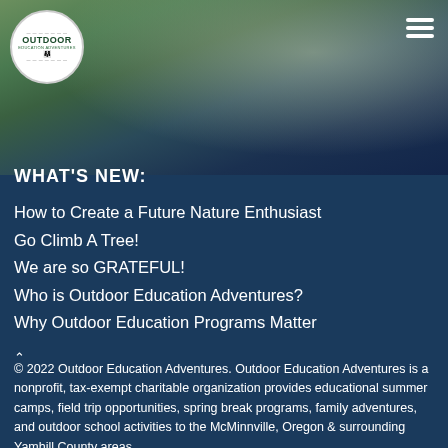[Figure (photo): Outdoor nature scene with trees, a path, and people in the background. Overlay includes Outdoor Education Adventures logo (circular, white background) in top-left and a hamburger menu icon in top-right.]
WHAT'S NEW:
How to Create a Future Nature Enthusiast
Go Climb A Tree!
We are so GRATEFUL!
Who is Outdoor Education Adventures?
Why Outdoor Education Programs Matter
© 2022 Outdoor Education Adventures. Outdoor Education Adventures is a nonprofit, tax-exempt charitable organization provides educational summer camps, field trip opportunities, spring break programs, family adventures, and outdoor school activities to the McMinnville, Oregon & surrounding Yamhill County areas.